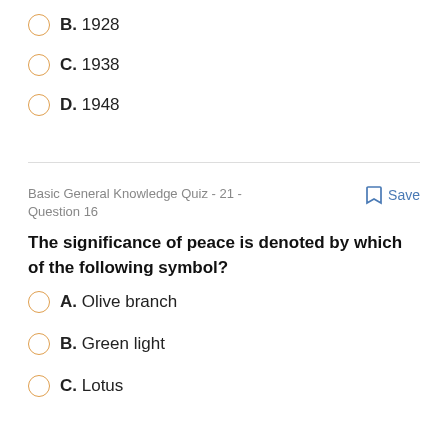B. 1928
C. 1938
D. 1948
Basic General Knowledge Quiz - 21 - Question 16
Save
The significance of peace is denoted by which of the following symbol?
A. Olive branch
B. Green light
C. Lotus